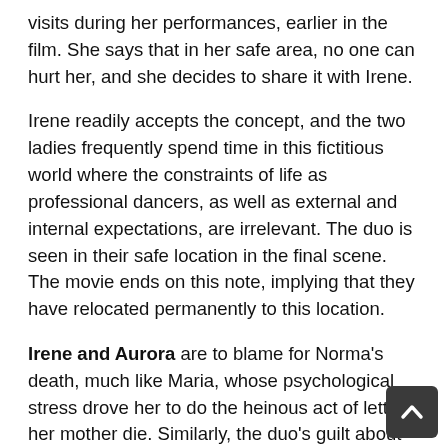visits during her performances, earlier in the film. She says that in her safe area, no one can hurt her, and she decides to share it with Irene.
Irene readily accepts the concept, and the two ladies frequently spend time in this fictitious world where the constraints of life as professional dancers, as well as external and internal expectations, are irrelevant. The duo is seen in their safe location in the final scene. The movie ends on this note, implying that they have relocated permanently to this location.
Irene and Aurora are to blame for Norma’s death, much like Maria, whose psychological stress drove her to do the heinous act of letting her mother die. Similarly, the duo’s guilt about the circumstance is a breaking point for their psychological stress, and they would most likely commit suicide due to their guilt. As a result, they are finally free of all their burdens and can spend the rest of eternity blissfully in their secure space.